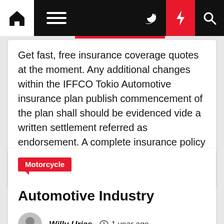Navigation bar with home, menu, dark mode, bolt, and search icons
Get fast, free insurance coverage quotes at the moment. Any additional changes within the IFFCO Tokio Automotive insurance plan publish commencement of the plan shall should be evidenced vide a written settlement referred as endorsement. A complete insurance policy provides protection for third occasion liability as well as damages brought [...]
Motorcycle
Automotive Industry
Willy Urias  1 year ago